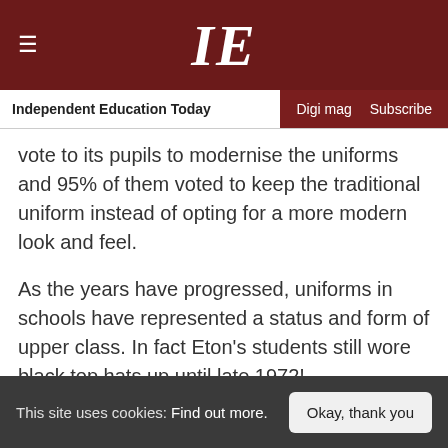IE — Independent Education Today | Digi mag | Subscribe
vote to its pupils to modernise the uniforms and 95% of them voted to keep the traditional uniform instead of opting for a more modern look and feel.
As the years have progressed, uniforms in schools have represented a status and form of upper class. In fact Eton's students still wore black top hats up until late 1972!
The United States of America followed with...
This site uses cookies: Find out more. | Okay, thank you